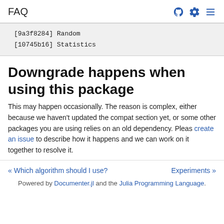FAQ
[9a3f8284] Random
[10745b16] Statistics
Downgrade happens when using this package
This may happen occasionally. The reason is complex, either because we haven't updated the compat section yet, or some other packages you are using relies on an old dependency. Pleas create an issue to describe how it happens and we can work on it together to resolve it.
« Which algorithm should I use?   Experiments »
Powered by Documenter.jl and the Julia Programming Language.